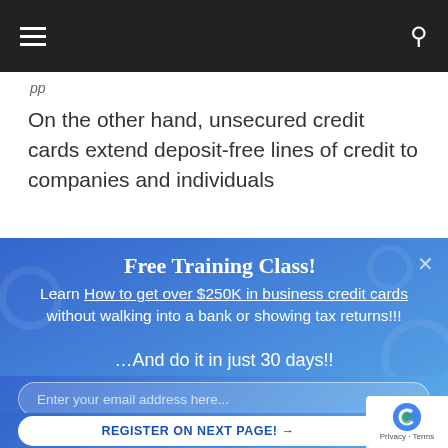Navigation bar with hamburger menu and search icon
pp
On the other hand, unsecured credit cards extend deposit-free lines of credit to companies and individuals
Free Training Class!
Learn How to get over $250K in business credit cards without walking into a bank or showing tax returns!!!
…And do it in just 30 days!!
Enter your email address here...
REGISTER ON NEXT PAGE! →